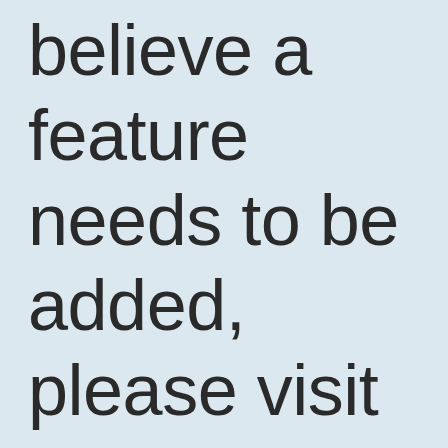believe a feature needs to be added, please visit the phpbb.com website and see what phpBB